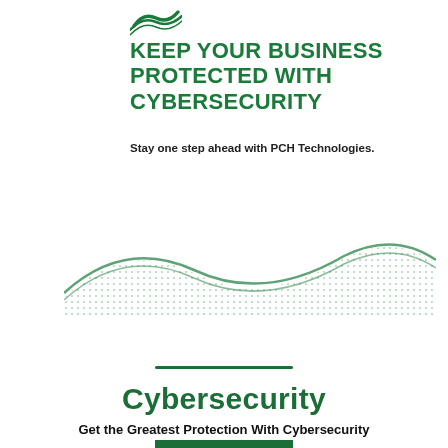[Figure (logo): PCH Technologies green wave logo mark]
KEEP YOUR BUSINESS PROTECTED WITH CYBERSECURITY
Stay one step ahead with PCH Technologies.
[Figure (illustration): Green dotted wave pattern banner with green bar and www.pchtechnologies.com URL]
Cybersecurity
Get the Greatest Protection With Cybersecurity